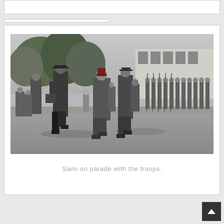[Figure (photo): Black and white photograph of Sami walking on parade with troops. Several uniformed military officers are visible, along with a man in civilian clothes and a fez hat. Soldiers stand in formation in the background. Trees and a building are visible behind.]
Sami on parade with the troops.